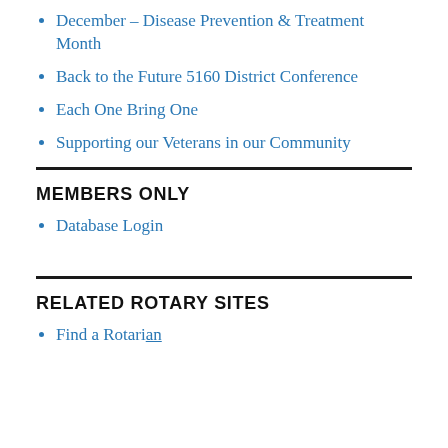December – Disease Prevention & Treatment Month
Back to the Future 5160 District Conference
Each One Bring One
Supporting our Veterans in our Community
MEMBERS ONLY
Database Login
RELATED ROTARY SITES
Find a Rotarian